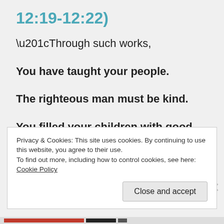12:19-12:22)
“Through such works,
You have taught your people.
The righteous man must be kind.
You filled your children with good hope.
Because you give repentance for sins.
Privacy & Cookies: This site uses cookies. By continuing to use this website, you agree to their use.
To find out more, including how to control cookies, see here: Cookie Policy